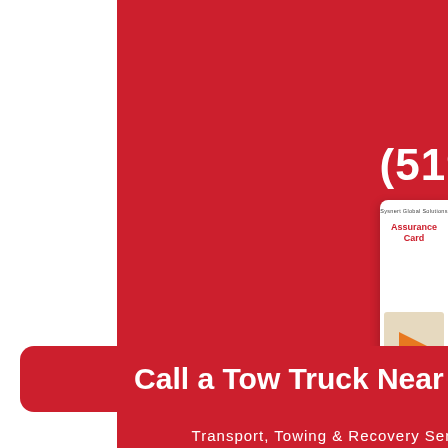[Figure (illustration): 24/7 circular arrow clock icon in white on red background]
CALL NOW
(519) 977-5656
OUR TOWING SERVICES
Heavy Duty Towing
Semi Truck Decking & Undecking
Heavy Duty Winching and Recovery
Cargo, Load Shifts, and Transfers
[Figure (other): Sysnert Global Solutions Assurance Card partial overlay on right side]
Call a Tow Truck Near You
Transport, Towing & Recovery Services